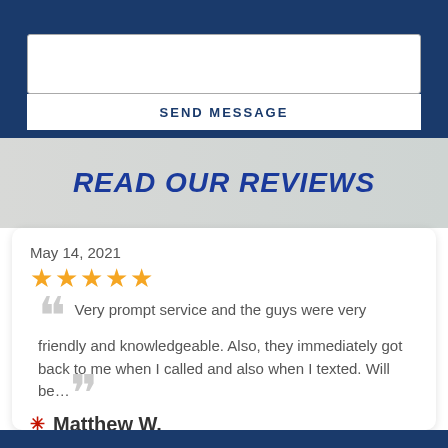[Figure (screenshot): Contact form textarea (white box) on dark blue background]
SEND MESSAGE
READ OUR REVIEWS
May 14, 2021
★★★★★
Very prompt service and the guys were very friendly and knowledgeable. Also, they immediately got back to me when I called and also when I texted. Will be…
Matthew W.